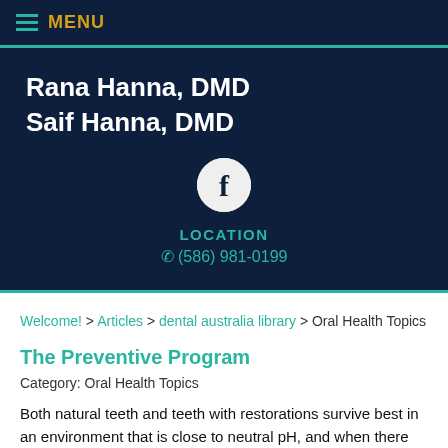MENU
Rana Hanna, DMD
Saif Hanna, DMD
[Figure (logo): Facebook icon circle button]
LOCATION
☎ (586) 981-0199
Welcome! > Articles > dental australia library > Oral Health Topics
The Preventive Program
Category: Oral Health Topics
Both natural teeth and teeth with restorations survive best in an environment that is close to neutral pH, and when there are